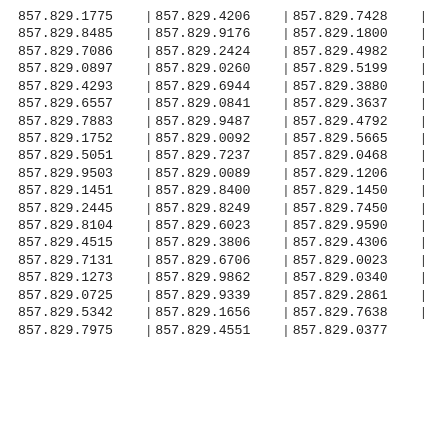857.829.1775 | 857.829.4206 | 857.829.7428 |
857.829.8485 | 857.829.9176 | 857.829.1800 |
857.829.7086 | 857.829.2424 | 857.829.4982 |
857.829.0897 | 857.829.0260 | 857.829.5199 |
857.829.4293 | 857.829.6944 | 857.829.3880 |
857.829.6557 | 857.829.0841 | 857.829.3637 |
857.829.7883 | 857.829.9487 | 857.829.4792 |
857.829.1752 | 857.829.0092 | 857.829.5665 |
857.829.5051 | 857.829.7237 | 857.829.0468 |
857.829.9503 | 857.829.0089 | 857.829.1206 |
857.829.1451 | 857.829.8400 | 857.829.1450 |
857.829.2445 | 857.829.8249 | 857.829.7450 |
857.829.8104 | 857.829.6023 | 857.829.9590 |
857.829.4515 | 857.829.3806 | 857.829.4306 |
857.829.7131 | 857.829.6706 | 857.829.0023 |
857.829.1273 | 857.829.9862 | 857.829.0340 |
857.829.0725 | 857.829.9339 | 857.829.2861 |
857.829.5342 | 857.829.1656 | 857.829.7638 |
857.829.7975 | 857.829.4551 | 857.829.0377 |